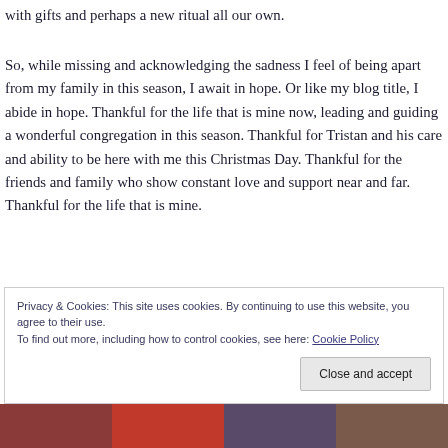with gifts and perhaps a new ritual all our own.
So, while missing and acknowledging the sadness I feel of being apart from my family in this season, I await in hope. Or like my blog title, I abide in hope. Thankful for the life that is mine now, leading and guiding a wonderful congregation in this season. Thankful for Tristan and his care and ability to be here with me this Christmas Day. Thankful for the friends and family who show constant love and support near and far. Thankful for the life that is mine.
Privacy & Cookies: This site uses cookies. By continuing to use this website, you agree to their use. To find out more, including how to control cookies, see here: Cookie Policy
[Figure (photo): Partial photo strip at bottom showing people, partially visible]